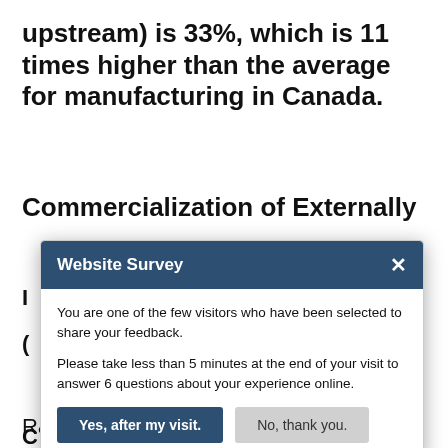upstream) is 33%, which is 11 times higher than the average for manufacturing in Canada.
Commercialization of Externally
[Figure (screenshot): Website Survey modal dialog with header 'Website Survey' and close button X. Body text: 'You are one of the few visitors who have been selected to share your feedback. Please take less than 5 minutes at the end of your visit to answer 6 questions about your experience online.' Two buttons: 'Yes, after my visit.' (dark blue) and 'No, thank you.' (grey).]
R&D projects, a 14% decline from 2018